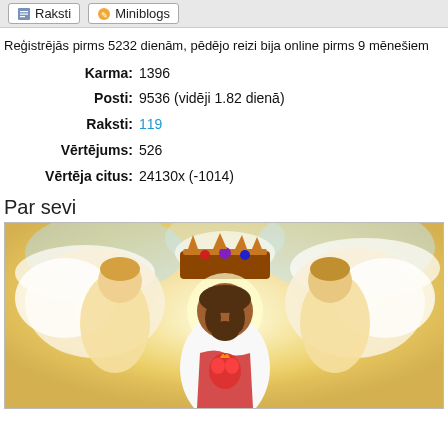Raksti  Miniblogs
Reģistrējās pirms 5232 dienām, pēdējo reizi bija online pirms 9 mēnešiem
Karma:  1396
Posti:  9536 (vidēji 1.82 dienā)
Raksti:  119
Vērtējums:  526
Vērtēja citus:  24130x (-1014)
Par sevi
[Figure (photo): Religious-themed illustration showing a figure with a glowing heart wearing white robes, flanked by two angels holding a jeweled crown above the figure's head, set against golden and blue cloudy background]